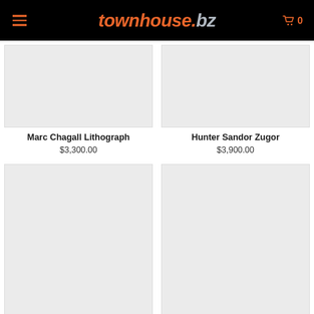townhouse.bz
[Figure (photo): Product image placeholder for Marc Chagall Lithograph (light gray rectangle)]
Marc Chagall Lithograph
$3,300.00
[Figure (photo): Product image placeholder for Hunter Sandor Zugor (light gray rectangle)]
Hunter Sandor Zugor
$3,900.00
[Figure (photo): Large product image placeholder (light gray rectangle)]
[Figure (photo): Large product image placeholder (light gray rectangle)]